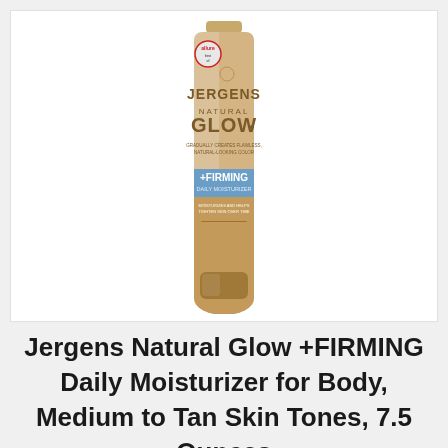[Figure (photo): Jergens Natural Glow +FIRMING Daily Moisturizer product tube, medium to tan skin tones, 7.5 fl oz (221 mL), with Allure award badge, on white background.]
Jergens Natural Glow +FIRMING Daily Moisturizer for Body, Medium to Tan Skin Tones, 7.5 Ounces